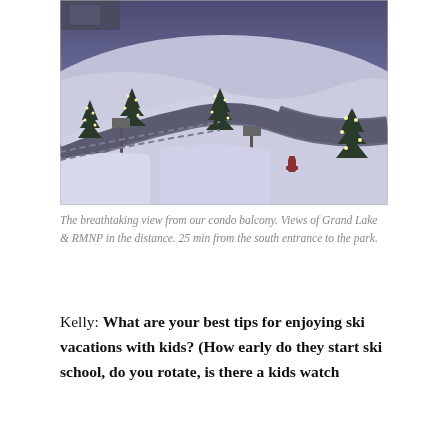[Figure (photo): Aerial/overhead view from a condo balcony showing a snowy winter scene with a curved road, illuminated Christmas trees along the road, snowbanks, and a fire hydrant visible in the foreground area. Bluish-purple twilight lighting.]
The breathtaking view from our condo balcony. Views of Grand Lake & RMNP in the distance. 25 min from the south entrance to the park.
Kelly: What are your best tips for enjoying ski vacations with kids? (How early do they start ski school, do you rotate, is there a kids watch